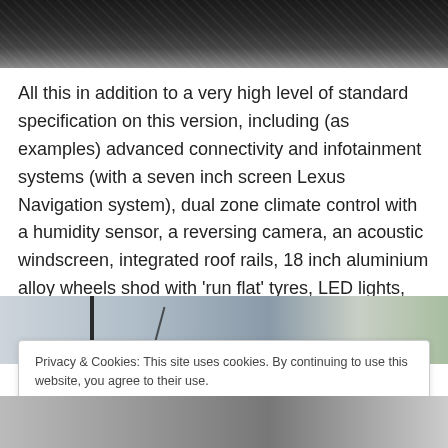[Figure (photo): Close-up photo of a car grille and tyre in black/dark tones at the top of the page]
All this in addition to a very high level of standard specification on this version, including (as examples) advanced connectivity and infotainment systems (with a seven inch screen Lexus Navigation system), dual zone climate control with a humidity sensor, a reversing camera, an acoustic windscreen, integrated roof rails, 18 inch aluminium alloy wheels shod with 'run flat' tyres, LED lights, etc, etc.
[Figure (photo): Partial photo of a car roofline and spoiler in grey/silver tones]
Privacy & Cookies: This site uses cookies. By continuing to use this website, you agree to their use.
To find out more, including how to control cookies, see here: Cookie Policy
[Figure (photo): Partial photo of a car wheel and alloy at the bottom of the page]